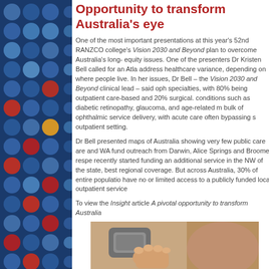Opportunity to transform Australia's eye care
One of the most important presentations at this year's 52nd RANZCO congress detailed the college's Vision 2030 and Beyond plan to overcome Australia's long-standing access and equity issues. One of the presenters Dr Kristen Bell called for an Atlas of Variation to address healthcare variance, depending on where people live. In her presentation on the issues, Dr Bell – the Vision 2030 and Beyond clinical lead – said ophthalmology lags other specialties, with 80% being outpatient care-based and 20% surgical. Chronic long-term conditions such as diabetic retinopathy, glaucoma, and age-related macular degeneration bulk of ophthalmic service delivery, with acute care often bypassing straight to an outpatient setting.
Dr Bell presented maps of Australia showing very few public care areas in NT and WA fund outreach from Darwin, Alice Springs and Broome, respectively. WA has recently started funding an additional service in the NW of the state, which provides the best regional coverage. But across Australia, 30% of entire population live in areas that have no or limited access to a publicly funded local outpatient service.
To view the Insight article A pivotal opportunity to transform Australia
[Figure (photo): Close-up photo of a medical eye examination device being held near a patient's eye/face]